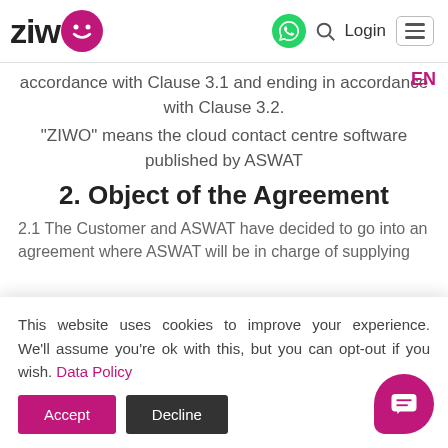ZIWO — Login navigation bar with WhatsApp icon, search, login, and menu
accordance with Clause 3.1 and ending in accordance with Clause 3.2.
"ZIWO" means the cloud contact centre software published by ASWAT
2. Object of the Agreement
2.1 The Customer and ASWAT have decided to go into an agreement where ASWAT will be in charge of supplying
This website uses cookies to improve your experience. We'll assume you're ok with this, but you can opt-out if you wish. Data Policy
Accept Decline